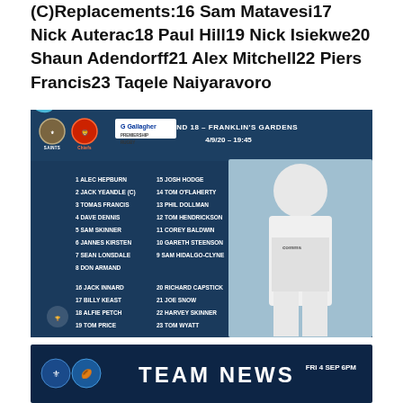(C)Replacements:16 Sam Matavesi17 Nick Auterac18 Paul Hill19 Nick Isiekwe20 Shaun Adendorff21 Alex Mitchell22 Piers Francis23 Taqele Naiyaravoro
[Figure (infographic): Exeter Chiefs vs Northampton Saints rugby team sheet for Round 18 at Franklin's Gardens, 4/9/20 - 19:45. Shows Gallagher Premiership Rugby branding. Lists players: 1 Alec Hepburn, 2 Jack Yeandle (C), 3 Tomas Francis, 4 Dave Dennis, 5 Sam Skinner, 6 Jannes Kirsten, 7 Sean Lonsdale, 8 Don Armand, 15 Josh Hodge, 14 Tom O'Flaherty, 13 Phil Dollman, 12 Tom Hendrickson, 11 Corey Baldwin, 10 Gareth Steenson, 9 Sam Hidalgo-Clyne. Replacements: 16 Jack Innard, 17 Billy Keast, 18 Alfie Petch, 19 Tom Price, 20 Richard Capstick, 21 Joe Snow, 22 Harvey Skinner, 23 Tom Wyatt. Features CHIEFS vertical text and a rugby player photo.]
[Figure (infographic): Team News banner with dark blue background, FRI 4 SEP 6PM label]